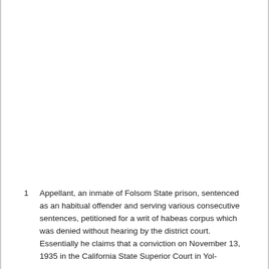1  Appellant, an inmate of Folsom State prison, sentenced as an habitual offender and serving various consecutive sentences, petitioned for a writ of habeas corpus which was denied without hearing by the district court. Essentially he claims that a conviction on November 13, 1935 in the California State Superior Court in Yol-